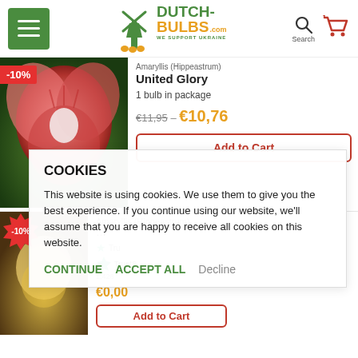Dutch-Bulbs.com — WE SUPPORT UKRAINE header navigation
[Figure (screenshot): Amaryllis (Hippeastrum) United Glory product image with -10% badge]
Amaryllis (Hippeastrum) United Glory
1 bulb in package
€11,95 – €10,76
Add to Cart
[Figure (photo): Second product image with -10% badge and Trustpilot widget]
COOKIES
This website is using cookies. We use them to give you the best experience. If you continue using our website, we'll assume that you are happy to receive all cookies on this website.
CONTINUE   ACCEPT ALL   Decline
Add to Cart